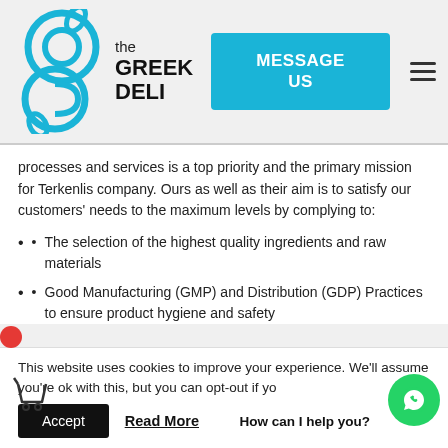[Figure (logo): The Greek Deli logo with circular blue leaf/plant design, with text 'the GREEK DELI' and a cyan 'MESSAGE US' button and hamburger menu icon]
processes and services is a top priority and the primary mission for Terkenlis company. Ours as well as their aim is to satisfy our customers' needs to the maximum levels by complying to:
The selection of the highest quality ingredients and raw materials
Good Manufacturing (GMP) and Distribution (GDP) Practices to ensure product hygiene and safety
This website uses cookies to improve your experience. We'll assume you're ok with this, but you can opt-out if you wish.
Accept   Read More   How can I help you?